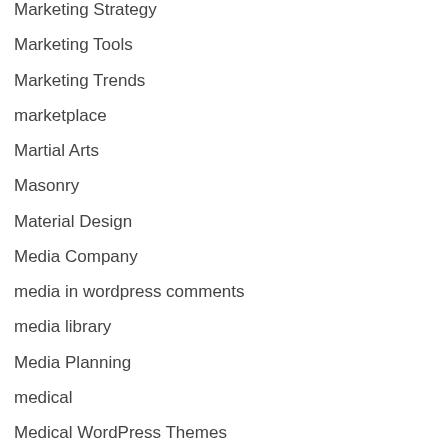Marketing Strategy
Marketing Tools
Marketing Trends
marketplace
Martial Arts
Masonry
Material Design
Media Company
media in wordpress comments
media library
Media Planning
medical
Medical WordPress Themes